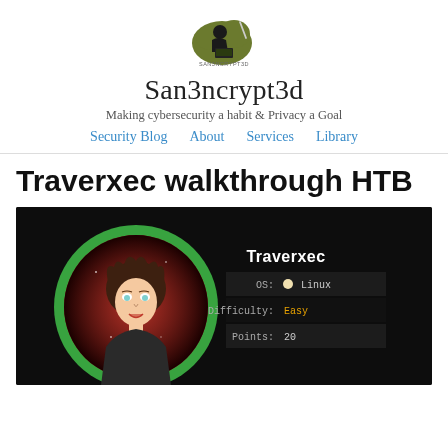[Figure (logo): San3ncrypt3d logo: hacker silhouette with laptop on dark olive cloud shape]
San3ncrypt3d
Making cybersecurity a habit & Privacy a Goal
Security Blog   About   Services   Library
Traverxec walkthrough HTB
[Figure (screenshot): HackTheBox Traverxec machine card showing: OS: Linux, Difficulty: Easy, Points: 20, with illustrated female avatar in green circle on dark background]